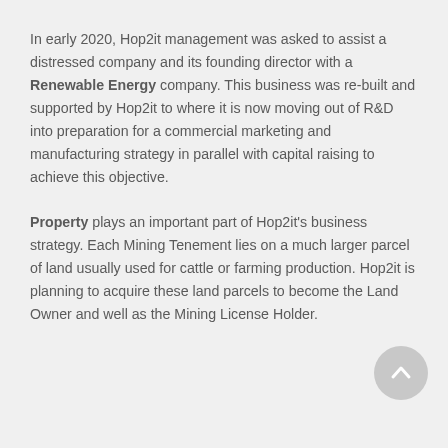In early 2020, Hop2it management was asked to assist a distressed company and its founding director with a Renewable Energy company. This business was re-built and supported by Hop2it to where it is now moving out of R&D into preparation for a commercial marketing and manufacturing strategy in parallel with capital raising to achieve this objective.
Property plays an important part of Hop2it's business strategy. Each Mining Tenement lies on a much larger parcel of land usually used for cattle or farming production. Hop2it is planning to acquire these land parcels to become the Land Owner and well as the Mining License Holder.